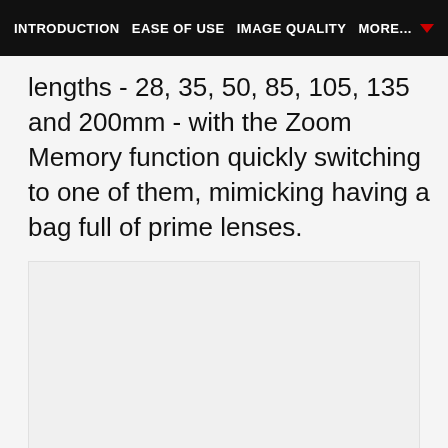INTRODUCTION   EASE OF USE   IMAGE QUALITY   MORE...
lengths - 28, 35, 50, 85, 105, 135 and 200mm - with the Zoom Memory function quickly switching to one of them, mimicking having a bag full of prime lenses.
[Figure (photo): Image placeholder area with three dots at the bottom, representing a photo or image carousel]